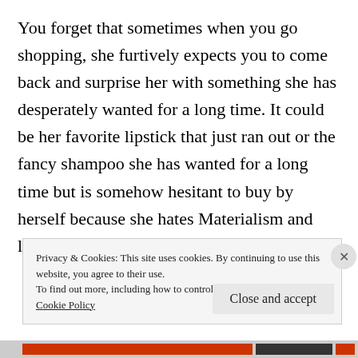You forget that sometimes when you go shopping, she furtively expects you to come back and surprise her with something she has desperately wanted for a long time. It could be her favorite lipstick that just ran out or the fancy shampoo she has wanted for a long time but is somehow hesitant to buy by herself because she hates Materialism and loathes high maintenance even more.
Privacy & Cookies: This site uses cookies. By continuing to use this website, you agree to their use.
To find out more, including how to control cookies, see here:
Cookie Policy
Close and accept